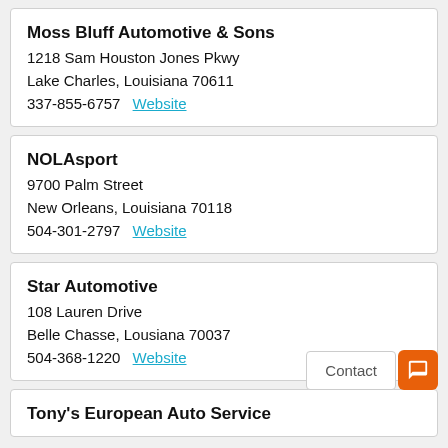Moss Bluff Automotive & Sons
1218 Sam Houston Jones Pkwy
Lake Charles, Louisiana 70611
337-855-6757   Website
NOLAsport
9700 Palm Street
New Orleans, Louisiana 70118
504-301-2797   Website
Star Automotive
108 Lauren Drive
Belle Chasse, Lousiana 70037
504-368-1220   Website
Tony's European Auto Service